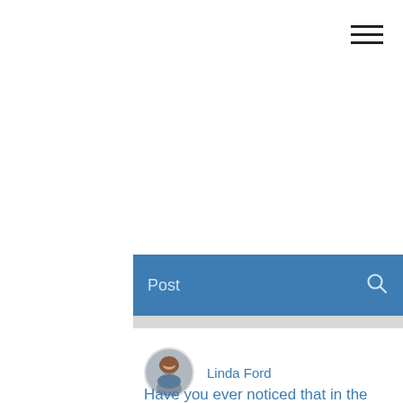[Figure (screenshot): Hamburger menu icon (three horizontal lines) in top right area]
[Figure (screenshot): Blue navigation bar with 'Post' label on left and search icon on right]
[Figure (photo): Circular profile photo of Linda Ford]
Linda Ford
Have you ever noticed that in the